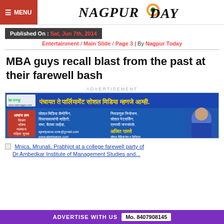MENU | Nagpur Today
Published On : Sat, Jun 7th, 2014
Entertainment / Main Slide / Page 3 | By Nagpur Today
MBA guys recall blast from the past at their farewell bash
ADVERTISEMENT
[Figure (photo): Nagpur Today advertisement in Marathi for Ajit Parse social media services - Panchayat to Parliament social media]
[Figure (photo): Mnica, Mrunali, Prabhjot at a college farewell party of Dr Ambedkar Institute of Management Studies and...]
ADVERTISE WITH US  Mo. 8407908145